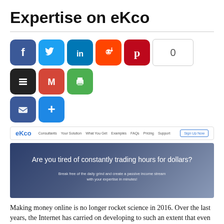Expertise on eKco
[Figure (infographic): Social media sharing buttons: Facebook (blue), Twitter (light blue), LinkedIn (blue), Reddit (orange), Pinterest (red), share count button showing 0, Buffer (dark), Gmail (red), Print (green), Email (blue), Add/More (blue)]
[Figure (screenshot): eKco website navigation bar with logo and links: Consultants, Your Solution, What You Get, Examples, FAQs, Pricing, Support, Sign Up Now button]
[Figure (photo): Dark blue hero banner with text: 'Are you tired of constantly trading hours for dollars?' and subtitle 'Break free of the daily grind and create a passive income stream with your expertise in minutes!']
Making money online is no longer rocket science in 2016. Over the last years, the Internet has carried on developing to such an extent that even the most novice user can generate a